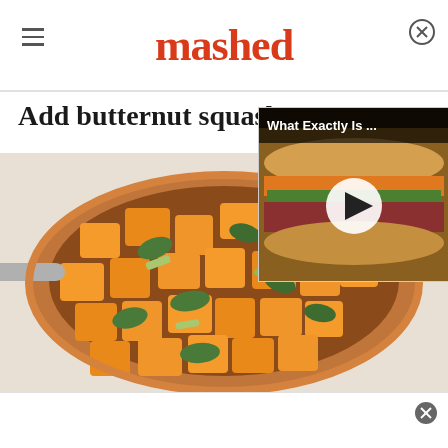mashed
Add butternut squash
[Figure (photo): A pan filled with diced butternut squash and leafy greens being cooked]
[Figure (screenshot): Video overlay thumbnail showing a sub sandwich with play button and text 'What Exactly Is ...']